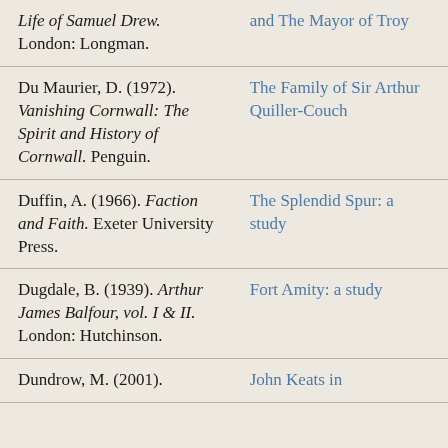| Reference | Related work |
| --- | --- |
| Life of Samuel Drew. London: Longman. | and The Mayor of Troy |
| Du Maurier, D. (1972). Vanishing Cornwall: The Spirit and History of Cornwall. Penguin. | The Family of Sir Arthur Quiller-Couch |
| Duffin, A. (1966). Faction and Faith. Exeter University Press. | The Splendid Spur: a study |
| Dugdale, B. (1939). Arthur James Balfour, vol. I & II. London: Hutchinson. | Fort Amity: a study |
| Dundrow, M. (2001). | John Keats in |